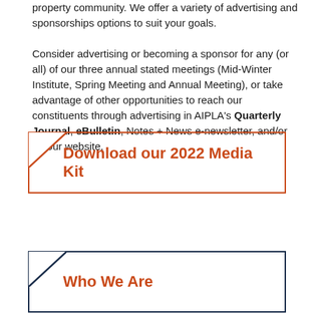property community. We offer a variety of advertising and sponsorships options to suit your goals.

Consider advertising or becoming a sponsor for any (or all) of our three annual stated meetings (Mid-Winter Institute, Spring Meeting and Annual Meeting), or take advantage of other opportunities to reach our constituents through advertising in AIPLA's Quarterly Journal, eBulletin, Notes + News e-newsletter, and/or on our website.
Download our 2022 Media Kit
Who We Are